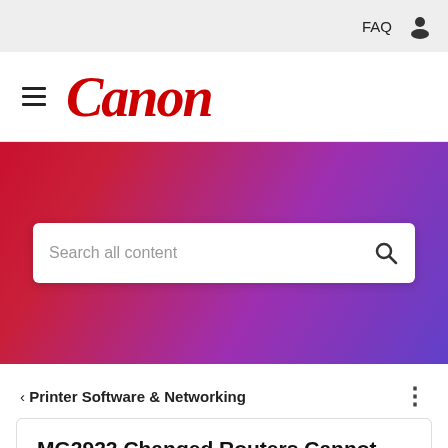FAQ
[Figure (logo): Canon logo in red italic serif font with hamburger menu icon to the left]
[Figure (screenshot): Red to purple gradient hero banner with a white search box containing placeholder text 'Search all content' and a search magnifying glass icon]
< Printer Software & Networking
MG2922 Changed Routers Cannot Get WiFi Setup